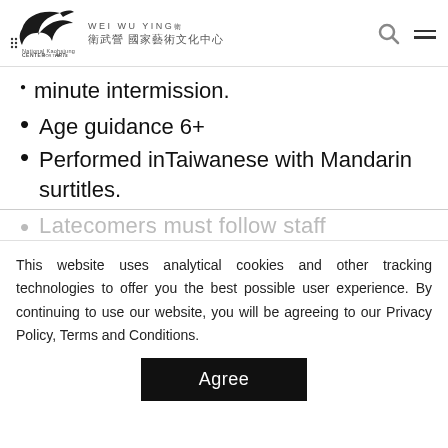[Figure (logo): Wei Wu Ying National Kaohsiung Center for the Arts logo with bird silhouette, English and Chinese text]
minute intermission.
Age guidance 6+
Performed in Taiwanese with Mandarin surtitles.
Latecomers must follow staff instructions (partially visible)
This website uses analytical cookies and other tracking technologies to offer you the best possible user experience. By continuing to use our website, you will be agreeing to our Privacy Policy, Terms and Conditions.
Agree